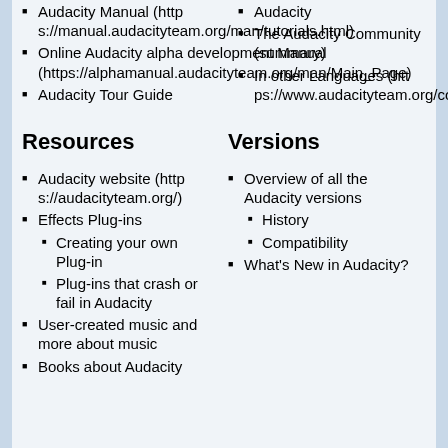Audacity Manual (https://manual.audacityteam.org/man/tutorials.html)
Online Audacity alpha development Manual (https://alphamanual.audacityteam.org/man/Main_Page)
Audacity Tour Guide
Audacity
The Audacity Community (summary)
In other Languages (https://www.audacityteam.org/community/translators/)
Resources
Versions
Audacity website (https://audacityteam.org/)
Effects Plug-ins
Creating your own Plug-in
Plug-ins that crash or fail in Audacity
User-created music and more about music
Books about Audacity
Overview of all the Audacity versions
History
Compatibility
What's New in Audacity?